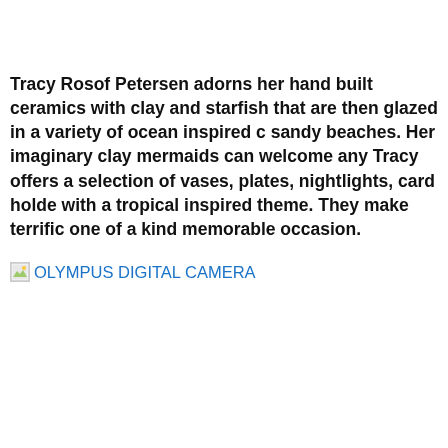Tracy Rosof Petersen adorns her hand built ceramics with clay and starfish that are then glazed in a variety of ocean inspired c sandy beaches. Her imaginary clay mermaids can welcome any Tracy offers a selection of vases, plates, nightlights, card holde with a tropical inspired theme. They make terrific one of a kind memorable occasion.
[Figure (photo): Broken image placeholder icon followed by link text 'OLYMPUS DIGITAL CAMERA']